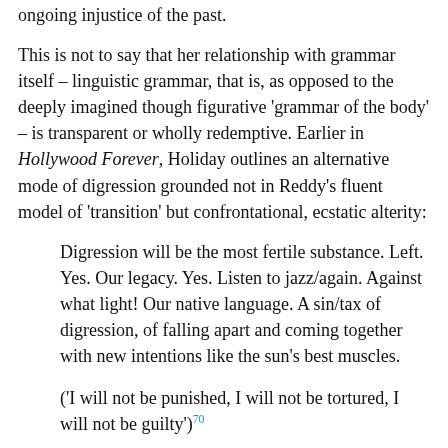ongoing injustice of the past.
This is not to say that her relationship with grammar itself – linguistic grammar, that is, as opposed to the deeply imagined though figurative 'grammar of the body' – is transparent or wholly redemptive. Earlier in Hollywood Forever, Holiday outlines an alternative mode of digression grounded not in Reddy's fluent model of 'transition' but confrontational, ecstatic alterity:
Digression will be the most fertile substance. Left. Yes. Our legacy. Yes. Listen to jazz/again. Against what light! Our native language. A sin/tax of digression, of falling apart and coming together with new intentions like the sun's best muscles.
('I will not be punished, I will not be tortured, I will not be guilty')70
Cleaving 'syntax' into an alternative etymology, Holiday draws out twin valences of the concept that pay tribute to the arduous African-American experience of living in